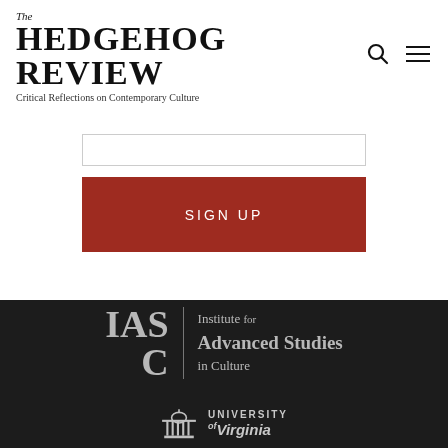The Hedgehog Review — Critical Reflections on Contemporary Culture
[Figure (screenshot): Input field text box]
SIGN UP
[Figure (logo): IASC — Institute for Advanced Studies in Culture logo]
[Figure (logo): University of Virginia logo]